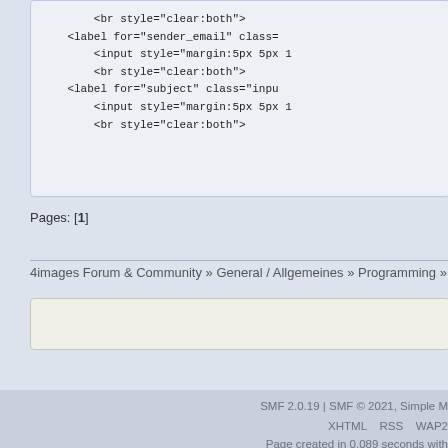<br style="clear:both">
<label for="sender_email" class=
<input style="margin:5px 5px 1
<br style="clear:both">
<label for="subject" class="inpu
<input style="margin:5px 5px 1
<br style="clear:both">
Pages: [1]
4images Forum & Community » General / Allgemeines » Programming » csrf verhindert
SMF 2.0.19 | SMF © 2021, Simple M
XHTML   RSS   WAP2
Page created in 0.089 seconds with